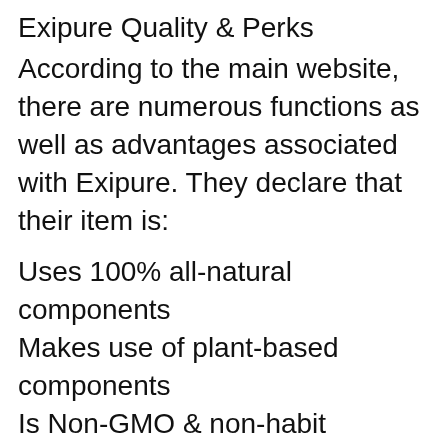Exipure Quality & Perks
According to the main website, there are numerous functions as well as advantages associated with Exipure. They declare that their item is:
Uses 100% all-natural components
Makes use of plant-based components
Is Non-GMO & non-habit developing with absolutely no stimulants
Medically backed with clean ingredients
Offered in very easy to ingest capsules
Active ingredients in Exipure
The components inside Exipure weight management pills are led by the 300mg Exipure formula mix consisting of;
Oleuropein Blend [Olive (Olea europaea)